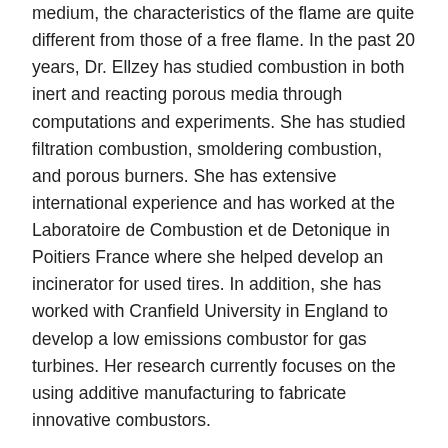medium, the characteristics of the flame are quite different from those of a free flame. In the past 20 years, Dr. Ellzey has studied combustion in both inert and reacting porous media through computations and experiments. She has studied filtration combustion, smoldering combustion, and porous burners. She has extensive international experience and has worked at the Laboratoire de Combustion et de Detonique in Poitiers France where she helped develop an incinerator for used tires. In addition, she has worked with Cranfield University in England to develop a low emissions combustor for gas turbines. Her research currently focuses on the using additive manufacturing to fabricate innovative combustors.
Biomass combustion
Although the combustion field has focused most of its recent efforts on high end applications such as jet engines, internal combustion engines, and industrial burners, 2.7 billion people still use biomass in traditional cook stoves each day. Collectively